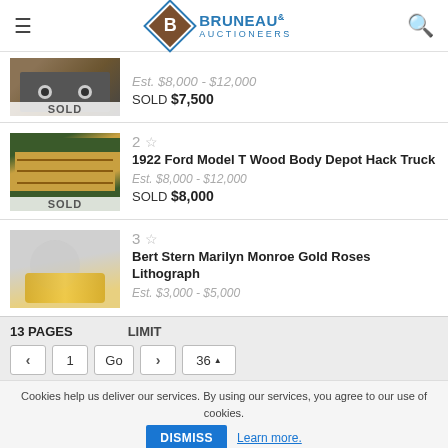Bruneau & Auctioneers
[Figure (photo): Partial image of an antique truck (lot 1), marked SOLD]
Est. $8,000 - $12,000
SOLD $7,500
2 ☆
1922 Ford Model T Wood Body Depot Hack Truck
Est. $8,000 - $12,000
SOLD $8,000
[Figure (photo): Photo of a 1922 Ford Model T Wood Body Depot Hack Truck, yellow/wood body with green cab, marked SOLD]
3 ☆
Bert Stern Marilyn Monroe Gold Roses Lithograph
Est. $3,000 - $5,000
[Figure (photo): Photo of Bert Stern Marilyn Monroe Gold Roses Lithograph]
13 PAGES   LIMIT   < 1 Go > 36 ▲
Cookies help us deliver our services. By using our services, you agree to our use of cookies.